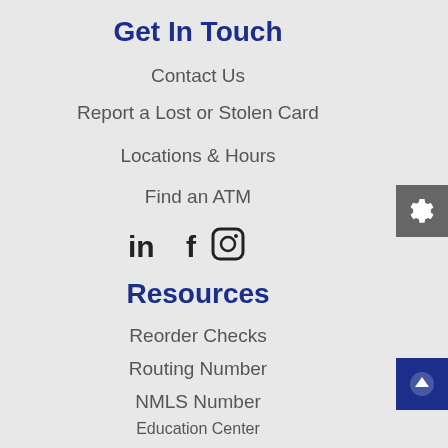Get In Touch
Contact Us
Report a Lost or Stolen Card
Locations & Hours
Find an ATM
[Figure (infographic): Social media icons: LinkedIn, Facebook, Instagram]
Resources
Reorder Checks
Routing Number
NMLS Number
Education Center
Calculators
Cybersecurity Tips